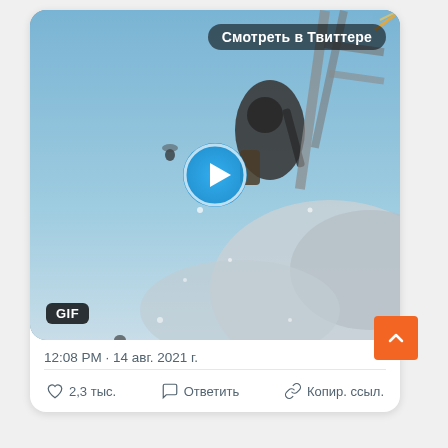[Figure (screenshot): Twitter/social media post screenshot showing a GIF video thumbnail of an action scene (soldiers/parachuting in combat), with a play button overlay, 'Смотреть в Твиттере' badge in the top right, and a GIF label in the bottom left.]
12:08 PM · 14 авг. 2021 г.
♡ 2,3 тыс.   Ответить   Копир. ссыл.